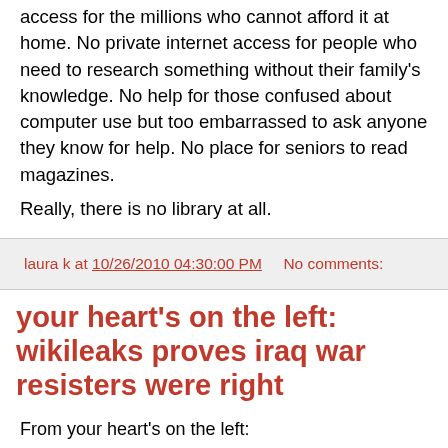access for the millions who cannot afford it at home. No private internet access for people who need to research something without their family's knowledge. No help for those confused about computer use but too embarrassed to ask anyone they know for help. No place for seniors to read magazines.
Really, there is no library at all.
laura k at 10/26/2010 04:30:00 PM    No comments:
your heart's on the left: wikileaks proves iraq war resisters were right
From your heart's on the left:
For 6 years US Iraq War resisters have been coming to Canada to seek refuge, and the Pentagon vindicates their reasons: they don't want to take part in the daily widespread practice